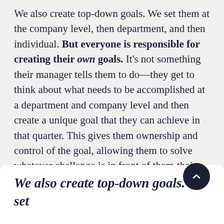We also create top-down goals. We set them at the company level, then department, and then individual. But everyone is responsible for creating their own goals. It's not something their manager tells them to do—they get to think about what needs to be accomplished at a department and company level and then create a unique goal that they can achieve in that quarter. This gives them ownership and control of the goal, allowing them to solve whatever challenge is in front of them their way. Their manager is there for support and can provide guidance, but this enables our employees to be more engaged in their work.
We also create top-down goals. We set